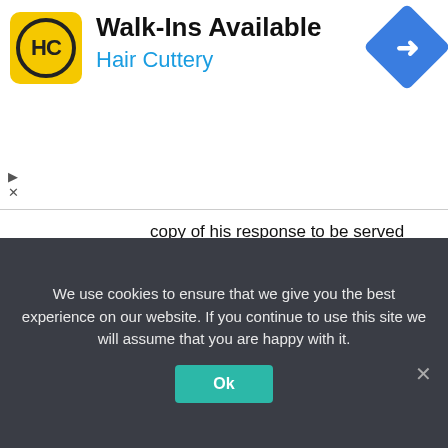[Figure (other): Hair Cuttery advertisement banner with logo and 'Walk-Ins Available' text]
copy of his response to be served on the AttorneyGeneral or his representative.
7.   Urgency of bail applications and appeals
The registrar shall ensure that every application or appeal referred to in these rules is set down for hearing with the utmost urgency.
Whenever it comes to the attention of a prison officer in charge of a prison that a prisoner
We use cookies to ensure that we give you the best experience on our website. If you continue to use this site we will assume that you are happy with it.